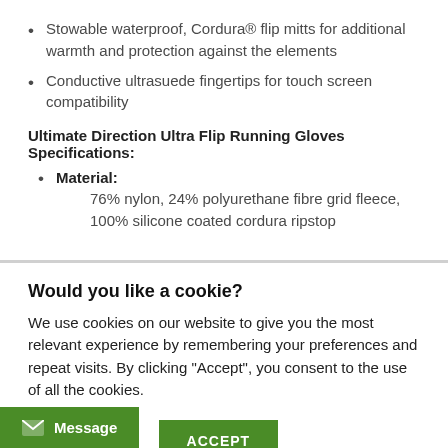Stowable waterproof, Cordura® flip mitts for additional warmth and protection against the elements
Conductive ultrasuede fingertips for touch screen compatibility
Ultimate Direction Ultra Flip Running Gloves Specifications:
Material: 76% nylon, 24% polyurethane fibre grid fleece, 100% silicone coated cordura ripstop
Would you like a cookie?
We use cookies on our website to give you the most relevant experience by remembering your preferences and repeat visits. By clicking "Accept", you consent to the use of all the cookies.
Cookie settings   ACCEPT
Message